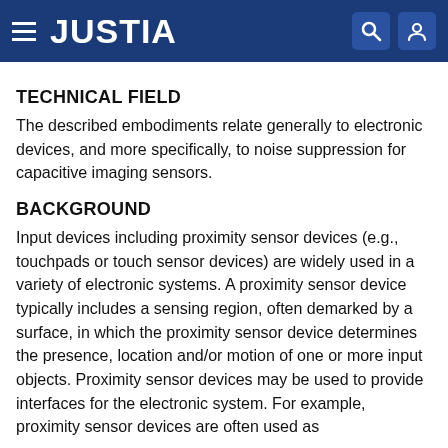JUSTIA
TECHNICAL FIELD
The described embodiments relate generally to electronic devices, and more specifically, to noise suppression for capacitive imaging sensors.
BACKGROUND
Input devices including proximity sensor devices (e.g., touchpads or touch sensor devices) are widely used in a variety of electronic systems. A proximity sensor device typically includes a sensing region, often demarked by a surface, in which the proximity sensor device determines the presence, location and/or motion of one or more input objects. Proximity sensor devices may be used to provide interfaces for the electronic system. For example, proximity sensor devices are often used as